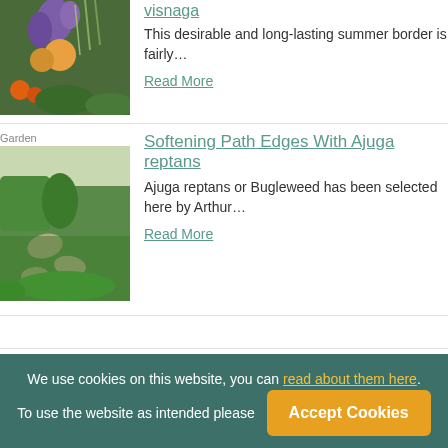[Figure (photo): Garden with purple flowers, orange dahlias, and ornamental grasses]
visnaga
This desirable and long-lasting summer border is fairly…
Read More
Garden
Softening Path Edges With Ajuga reptans
[Figure (photo): Formal garden path with stepping stones edged with low green plants and topiary]
Ajuga reptans or Bugleweed has been selected here by Arthur…
Read More
We use cookies on this website, you can read about them here. To use the website as intended please
Accept Cookies